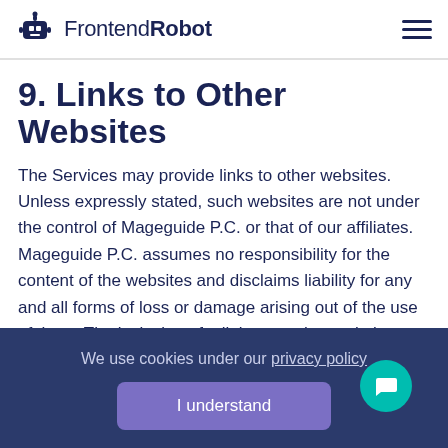FrontendRobot
9. Links to Other Websites
The Services may provide links to other websites. Unless expressly stated, such websites are not under the control of Mageguide P.C. or that of our affiliates. Mageguide P.C. assumes no responsibility for the content of the websites and disclaims liability for any and all forms of loss or damage arising out of the use of them. The inclusion of a link to another website on the Services does not
We use cookies under our privacy policy
I understand